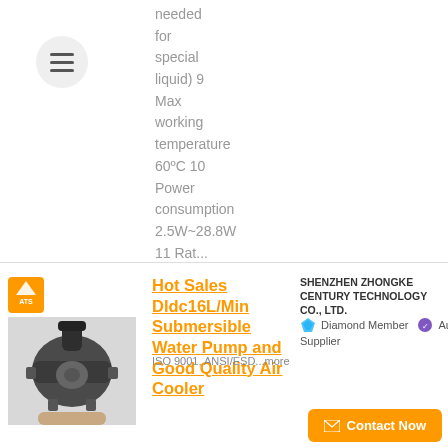needed for special liquid) 9 Max working temperature 60ºC 10 Power consumption 2.5W~28.8W 11 Rat...
[Figure (photo): A dark-colored submersible water pump component, metallic/plastic, viewed from the front/top, held by a hand.]
SHENZHEN ZHONGKE CENTURY TECHNOLOGY CO., LTD.
Hot Sales Dldc16L/Min Submersible Water Pump and Good Quality Air Cooler
Diamond Member   Audited Supplier
ISO 9001, ANSI/ESD...more
Contact Now